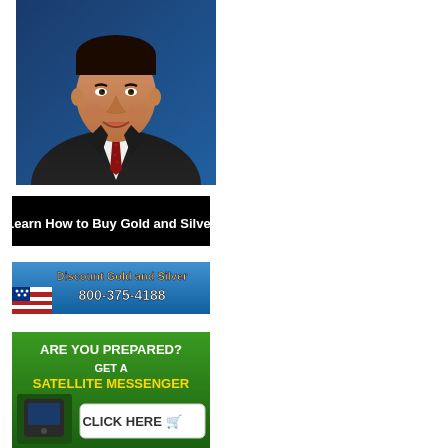[Figure (photo): Professional headshot of a man in a dark suit with a dark red patterned tie, smiling, against a blue background.]
[Figure (other): Black banner advertisement with white text reading 'Learn How to Buy Gold and Silver']
[Figure (other): Blue banner advertisement for 'Discount Gold and Silver' with phone number '800-375-4188' and an American flag graphic]
[Figure (other): Green banner advertisement asking 'ARE YOU PREPARED? GET A SATELLITE MESSENGER' with a 'CLICK HERE' button and image of a satellite messenger device]